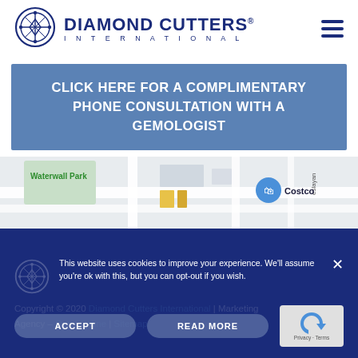[Figure (logo): Diamond Cutters International logo with circular emblem and text]
CLICK HERE FOR A COMPLIMENTARY PHONE CONSULTATION WITH A GEMOLOGIST
[Figure (map): Google Maps snippet showing Waterwall Park and Costco area]
Copyright © 2020 Diamond Cutters International | Marketing Agency – Omni Online | Sitemap
This website uses cookies to improve your experience. We'll assume you're ok with this, but you can opt-out if you wish.